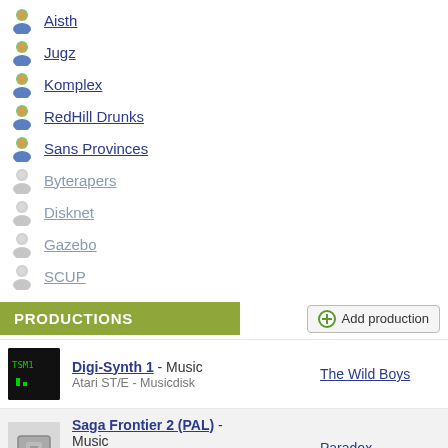Aisth
Jugz
Komplex
RedHill Drunks
Sans Provinces
Byterapers
Disknet
Gazebo
SCUP
PRODUCTIONS
Digi-Synth 1 - Music Atari ST/E - Musicdisk | The Wild Boys
Saga Frontier 2 (PAL) - Music Sony Playstation 1 (PSX) - Cracktro | Paradox
Wormholes (extended) Tracked Music | DeLorean and Jugi